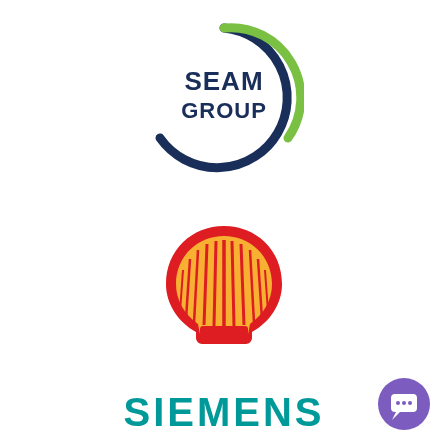[Figure (logo): SEAM Group logo: circular arc design in dark navy blue and green with 'SEAM GROUP' text in dark navy]
[Figure (logo): Shell logo: iconic red and yellow pecten (scallop shell) emblem]
[Figure (logo): Siemens logo: bold teal/green text 'SIEMENS']
[Figure (logo): Purple circular chat/message button icon in bottom right corner]